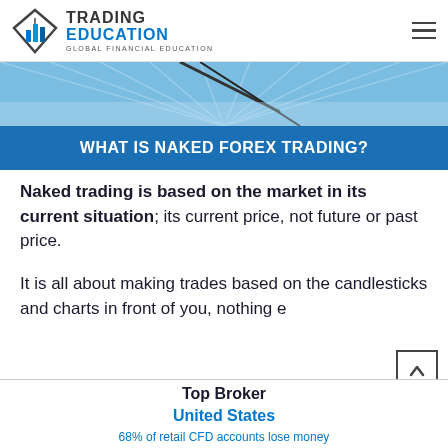TRADING EDUCATION — GLOBAL FINANCIAL EDUCATION
[Figure (photo): Hero banner image showing a chart or trading-related graphic with blue geometric ray background]
WHAT IS NAKED FOREX TRADING?
Naked trading is based on the market in its current situation; its current price, not future or past price.
It is all about making trades based on the candlesticks and charts in front of you, nothing e
Top Broker United States — 68% of retail CFD accounts lose money